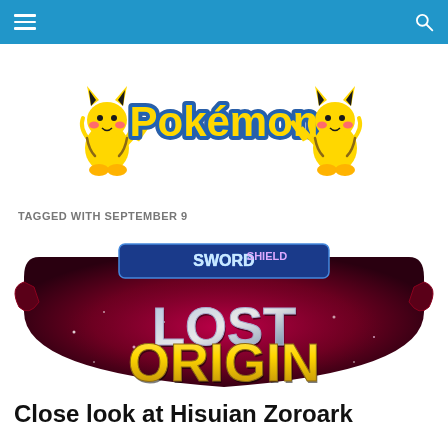≡  🔍
[Figure (logo): Pokémon logo with Pikachu characters on both sides on a white background]
TAGGED WITH SEPTEMBER 9
[Figure (logo): Pokémon Sword & Shield: Lost Origin card game set logo on dark crimson background with sparkles]
Close look at Hisuian Zoroark